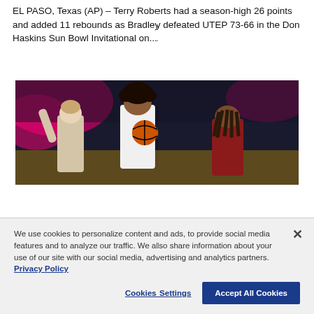EL PASO, Texas (AP) – Terry Roberts had a season-high 26 points and added 11 rebounds as Bradley defeated UTEP 73-66 in the Don Haskins Sun Bowl Invitational on...
[Figure (photo): Basketball players on court, one player with curly hair holding the ball, two other players in maroon jerseys nearby, indoor arena with pink/magenta lighting in background]
We use cookies to personalize content and ads, to provide social media features and to analyze our traffic. We also share information about your use of our site with our social media, advertising and analytics partners. Privacy Policy
Cookies Settings
Accept All Cookies